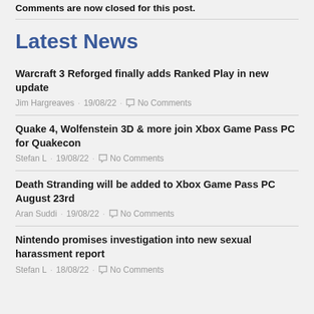Comments are now closed for this post.
Latest News
Warcraft 3 Reforged finally adds Ranked Play in new update
Jim Hargreaves · 19/08/22 · No Comments
Quake 4, Wolfenstein 3D & more join Xbox Game Pass PC for Quakecon
Stefan L · 19/08/22 · No Comments
Death Stranding will be added to Xbox Game Pass PC August 23rd
Aran Suddi · 19/08/22 · No Comments
Nintendo promises investigation into new sexual harassment report
Stefan L · 18/08/22 · No Comments